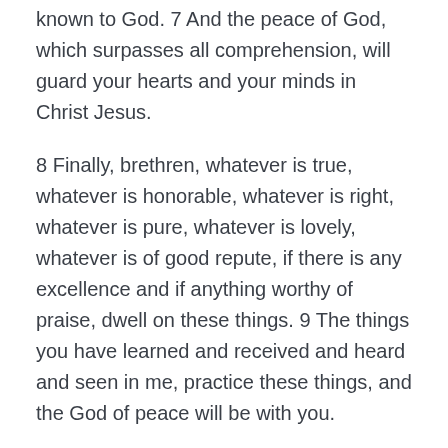known to God. 7 And the peace of God, which surpasses all comprehension, will guard your hearts and your minds in Christ Jesus.
8 Finally, brethren, whatever is true, whatever is honorable, whatever is right, whatever is pure, whatever is lovely, whatever is of good repute, if there is any excellence and if anything worthy of praise, dwell on these things. 9 The things you have learned and received and heard and seen in me, practice these things, and the God of peace will be with you.
God's Provisions
10 But I rejoiced in the Lord greatly, that